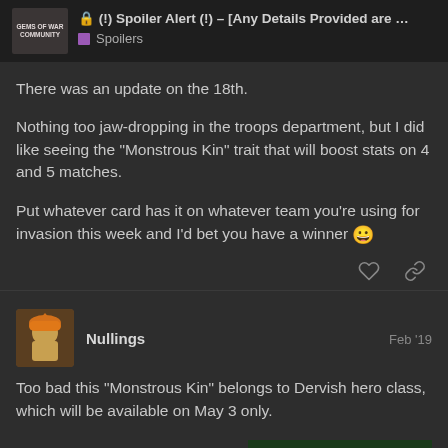(!) Spoiler Alert (!) – [Any Details Provided are ... | Spoilers
There was an update on the 18th.
Nothing too jaw-dropping in the troops department, but I did like seeing the “Monstrous Kin” trait that will boost stats on 4 and 5 matches.
Put whatever card has it on whatever team you’re using for invasion this week and I’d bet you have a winner 😀
Nullings  Feb '19
Too bad this “Monstrous Kin” belongs to Dervish hero class, which will be available on May 3 only.
[Figure (screenshot): Green number 7795 on dark green background]